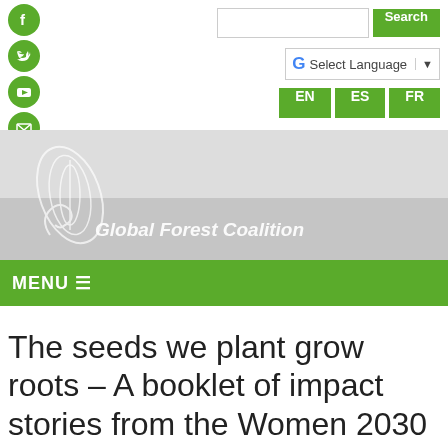[Figure (screenshot): Social media icons (Facebook, Twitter, YouTube, email) as green circles in a vertical column on the left side of the header]
[Figure (screenshot): Search bar with green Search button on the top right]
[Figure (screenshot): Google Translate Select Language widget with EN, ES, FR language buttons below]
[Figure (logo): Global Forest Coalition logo with white tree/leaf and spiral motif on grey banner background, with italic text 'Global Forest Coalition']
[Figure (screenshot): Green MENU navigation bar with hamburger icon]
The seeds we plant grow roots – A booklet of impact stories from the Women 2030 Program